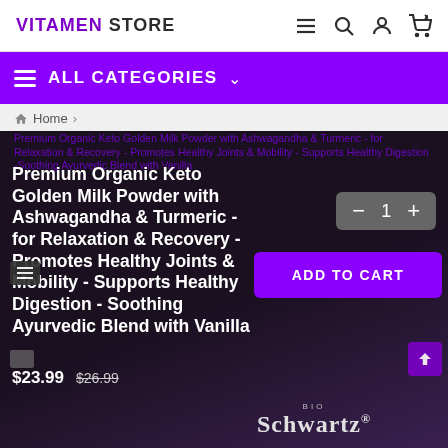VITAMEN STORE
ALL CATEGORIES
Home >
Premium Organic Keto Golden Milk Powder with Ashwagandha & Turmeric - for Relaxation & Recovery - Promotes Healthy Joints & Mobility - Supports Healthy Digestion - Soothing Ayurvedic Blend with Vanilla
$23.99  $26.99